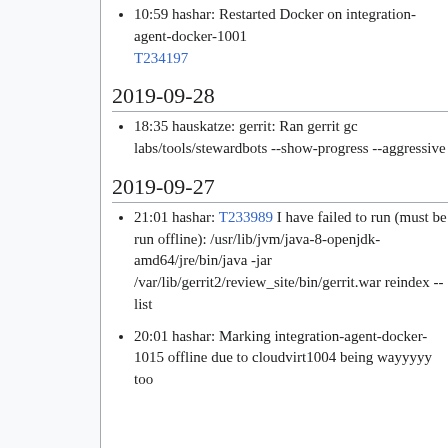10:59 hashar: Restarted Docker on integration-agent-docker-1001 T234197
2019-09-28
18:35 hauskatze: gerrit: Ran gerrit gc labs/tools/stewardbots --show-progress --aggressive
2019-09-27
21:01 hashar: T233989 I have failed to run (must be run offline): /usr/lib/jvm/java-8-openjdk-amd64/jre/bin/java -jar /var/lib/gerrit2/review_site/bin/gerrit.war reindex --list
20:01 hashar: Marking integration-agent-docker-1015 offline due to cloudvirt1004 being wayyyyy too